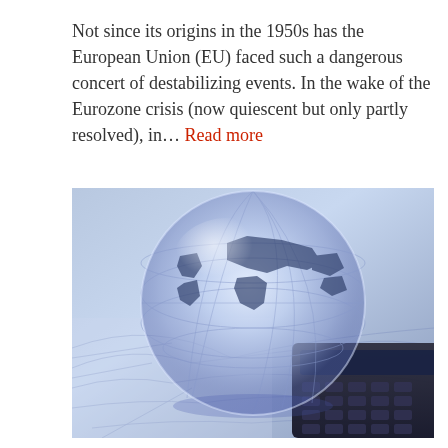Not since its origins in the 1950s has the European Union (EU) faced such a dangerous concert of destabilizing events. In the wake of the Eurozone crisis (now quiescent but only partly resolved), in… Read more
[Figure (photo): A glass globe sitting on financial charts/documents next to a calculator, with a blue-tinted color palette suggesting global finance themes.]